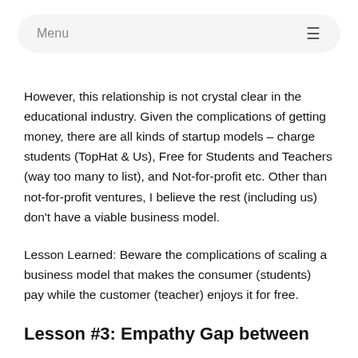Menu
However, this relationship is not crystal clear in the educational industry. Given the complications of getting money, there are all kinds of startup models – charge students (TopHat & Us), Free for Students and Teachers (way too many to list), and Not-for-profit etc. Other than not-for-profit ventures, I believe the rest (including us) don't have a viable business model.
Lesson Learned: Beware the complications of scaling a business model that makes the consumer (students) pay while the customer (teacher) enjoys it for free.
Lesson #3: Empathy Gap between